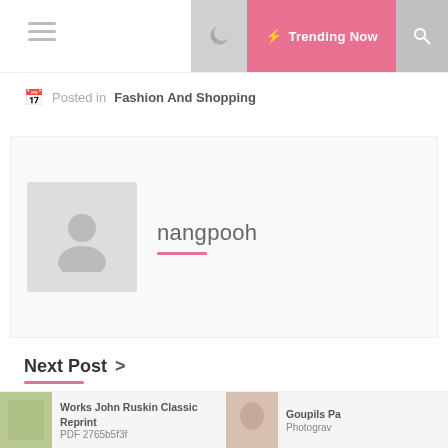Trending Now
Posted in  Fashion And Shopping
[Figure (illustration): Author avatar placeholder with user silhouette icon]
nangpooh
Next Post >
Fashion And Shopping
Ingres Biographie Critique Classic
Works John Ruskin Classic Reprint PDF 2765b5f3f   Goupils Pa Photograv